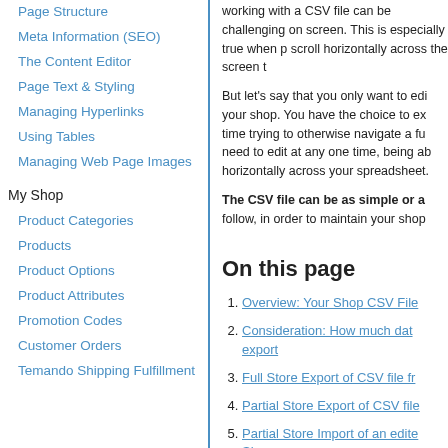Page Structure
Meta Information (SEO)
The Content Editor
Page Text & Styling
Managing Hyperlinks
Using Tables
Managing Web Page Images
My Shop
Product Categories
Products
Product Options
Product Attributes
Promotion Codes
Customer Orders
Temando Shipping Fulfillment
working with a CSV file can be challenging on screen. This is especially true when p scroll horizontally across the screen t
But let's say that you only want to edi your shop. You have the choice to ex time trying to otherwise navigate a fu need to edit at any one time, being ab horizontally across your spreadsheet.
The CSV file can be as simple or a follow, in order to maintain your shop
On this page
Overview: Your Shop CSV File
Consideration: How much data export
Full Store Export of CSV file fr
Partial Store Export of CSV file
Partial Store Import of an edite Shop